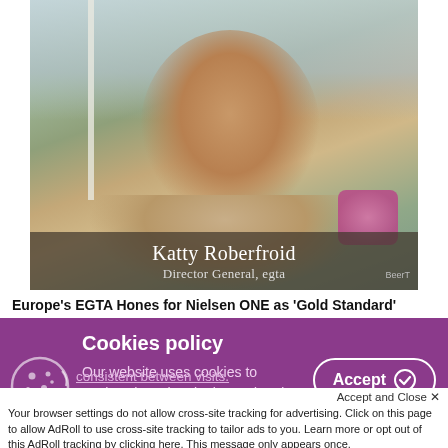[Figure (photo): Photo of Katty Roberfroid, Director General of egta, smiling outdoors at what appears to be a terrace or outdoor venue. She has short reddish-brown hair and is wearing a light-coloured top. The background shows other people, outdoor furniture, plants, and a white umbrella. A lower-third overlay shows her name and title.]
Europe's EGTA Hones for Nielsen ONE as 'Gold Standard'
Cookies policy
Our website uses cookies to analyse how the site is used and to ensure your experience is consistent between visits.
Accept and Close ✕
Your browser settings do not allow cross-site tracking for advertising. Click on this page to allow AdRoll to use cross-site tracking to tailor ads to you. Learn more or opt out of this AdRoll tracking by clicking here. This message only appears once.